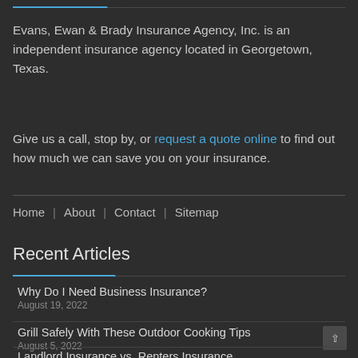Evans, Ewan & Brady Insurance Agency, Inc. is an independent insurance agency located in Georgetown, Texas.
Give us a call, stop by, or request a quote online to find out how much we can save you on your insurance.
Home | About | Contact | Sitemap
Recent Articles
Why Do I Need Business Insurance?
August 19, 2022
Grill Safely With These Outdoor Cooking Tips
August 5, 2022
Landlord Insurance vs. Renters Insurance